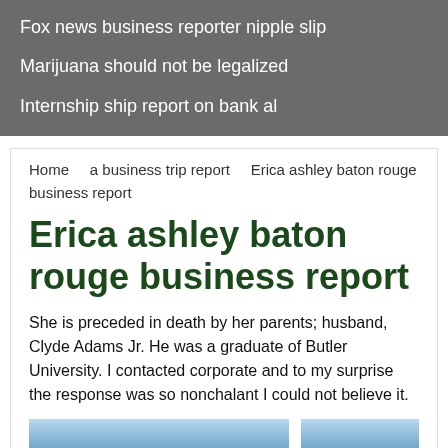Fox news business reporter nipple slip
Marijuana should not be legalized
Internship ship report on bank al
Home   a business trip report   Erica ashley baton rouge business report
Erica ashley baton rouge business report
She is preceded in death by her parents; husband, Clyde Adams Jr. He was a graduate of Butler University. I contacted corporate and to my surprise the response was so nonchalant I could not believe it.
[Figure (photo): Partial image strip visible at bottom of page, light blue gradient]